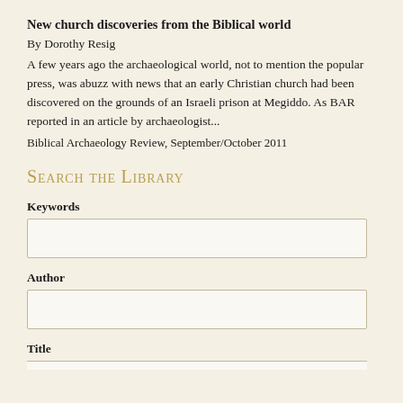New church discoveries from the Biblical world
By Dorothy Resig
A few years ago the archaeological world, not to mention the popular press, was abuzz with news that an early Christian church had been discovered on the grounds of an Israeli prison at Megiddo. As BAR reported in an article by archaeologist...
Biblical Archaeology Review, September/October 2011
Search the Library
Keywords
Author
Title